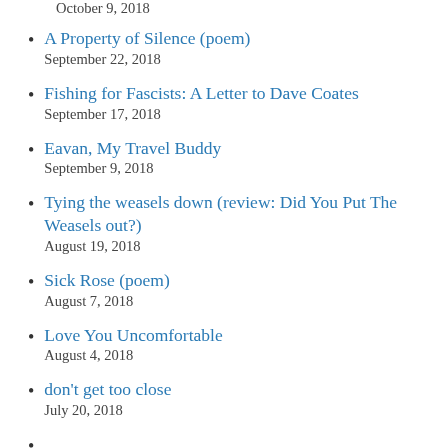October 9, 2018
A Property of Silence (poem)
September 22, 2018
Fishing for Fascists: A Letter to Dave Coates
September 17, 2018
Eavan, My Travel Buddy
September 9, 2018
Tying the weasels down (review: Did You Put The Weasels out?)
August 19, 2018
Sick Rose (poem)
August 7, 2018
Love You Uncomfortable
August 4, 2018
don't get too close
July 20, 2018
(partial item visible)